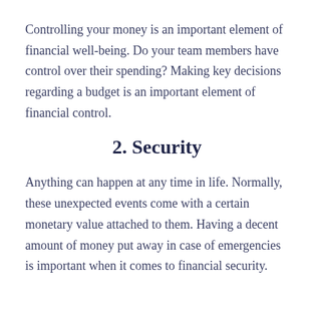Controlling your money is an important element of financial well-being. Do your team members have control over their spending? Making key decisions regarding a budget is an important element of financial control.
2. Security
Anything can happen at any time in life. Normally, these unexpected events come with a certain monetary value attached to them. Having a decent amount of money put away in case of emergencies is important when it comes to financial security.